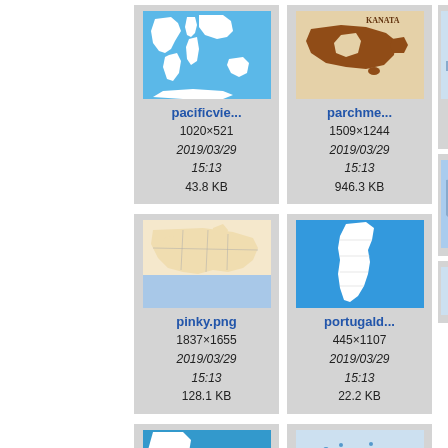[Figure (map): World map thumbnail - pacificview]
pacificvie...
1020×521
2019/03/29
15:13
43.8 KB
[Figure (map): Parchment map of Canada thumbnail - parchme]
parchme...
1509×1244
2019/03/29
15:13
946.3 KB
[Figure (map): Map of Europe thumbnail - pinky.png]
pinky.png
1837×1655
2019/03/29
15:13
128.1 KB
[Figure (map): Map of Portugal thumbnail - portugalb]
portugald...
445×1107
2019/03/29
15:13
22.2 KB
[Figure (map): Partial map thumbnail - riv...]
[Figure (map): Bottom row partial map thumbnails]